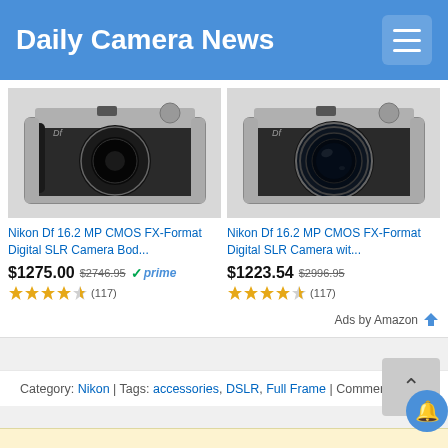Daily Camera News
[Figure (photo): Nikon Df camera body only, silver/black, no lens]
Nikon Df 16.2 MP CMOS FX-Format Digital SLR Camera Bod...
$1275.00 $2746.95 prime
(117) 4.5 stars
[Figure (photo): Nikon Df camera with lens attached, silver/black]
Nikon Df 16.2 MP CMOS FX-Format Digital SLR Camera wit...
$1223.54 $2996.95
(117) 4.5 stars
Ads by Amazon
Category: Nikon | Tags: accessories, DSLR, Full Frame | Comments: 1